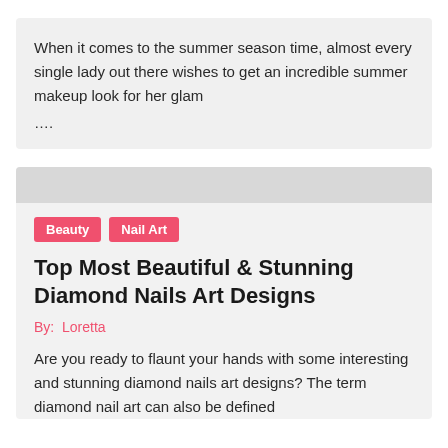When it comes to the summer season time, almost every single lady out there wishes to get an incredible summer makeup look for her glam ….
Beauty
Nail Art
Top Most Beautiful & Stunning Diamond Nails Art Designs
By: Loretta
Are you ready to flaunt your hands with some interesting and stunning diamond nails art designs? The term diamond nail art can also be defined